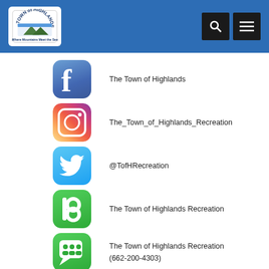[Figure (logo): Town of Highlands municipal logo with blue header, search and menu buttons]
The Town of Highlands
The_Town_of_Highlands_Recreation
@TofHRecreation
The Town of Highlands Recreation
The Town of Highlands Recreation
(662-200-4303)